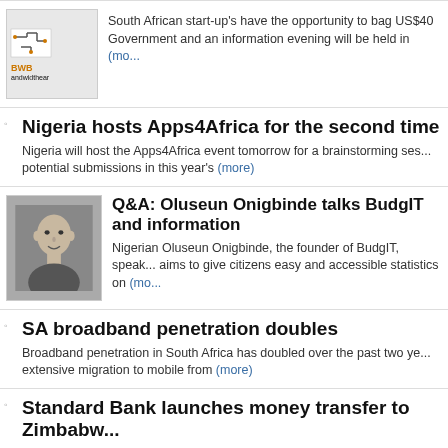[Figure (logo): andwidthear logo - orange and black text with circuit board graphic]
South African start-up's have the opportunity to bag US$40... Government and an information evening will be held in (more)
Nigeria hosts Apps4Africa for the second time
Nigeria will host the Apps4Africa event tomorrow for a brainstorming ses... potential submissions in this year's (more)
[Figure (photo): Black and white portrait photo of Oluseun Onigbinde]
Q&A: Oluseun Onigbinde talks BudgIT and information
Nigerian Oluseun Onigbinde, the founder of BudgIT, speaks... aims to give citizens easy and accessible statistics on (more)
SA broadband penetration doubles
Broadband penetration in South Africa has doubled over the past two ye... extensive migration to mobile from (more)
Standard Bank launches money transfer to Zimbabwe
South Africa's Standard Bank has partnered with retail store OK Zimbab... transfer programme Instant Money (more)